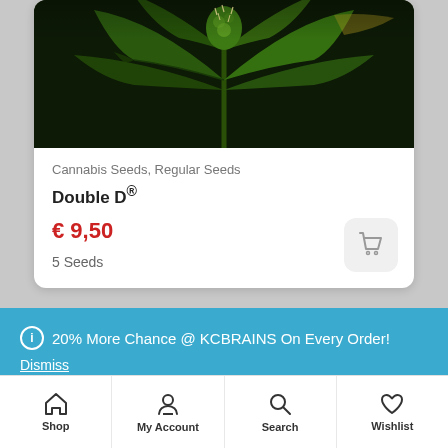[Figure (photo): Close-up photo of a cannabis plant with green leaves and flowering buds against dark background]
Cannabis Seeds, Regular Seeds
Double D®
€ 9,50
5 Seeds
20% More Chance @ KCBRAINS On Every Order!
Dismiss
Shop  My Account  Search  Wishlist